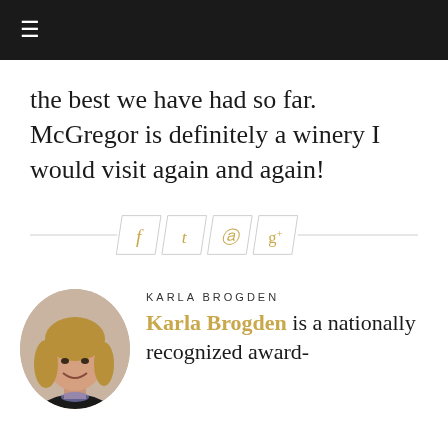≡ (navigation menu icon)
the best we have had so far. McGregor is definitely a winery I would visit again and again!
[Figure (infographic): Social sharing icons bar with parallelogram-shaped boxes for Facebook, Twitter, Pinterest, and Google+, separated by horizontal lines on each side]
[Figure (photo): Circular headshot photo of Karla Brogden, a woman with blonde hair wearing a dark blazer and necklace, smiling]
KARLA BROGDEN
Karla Brogden is a nationally recognized award-
KARLA BROGDEN